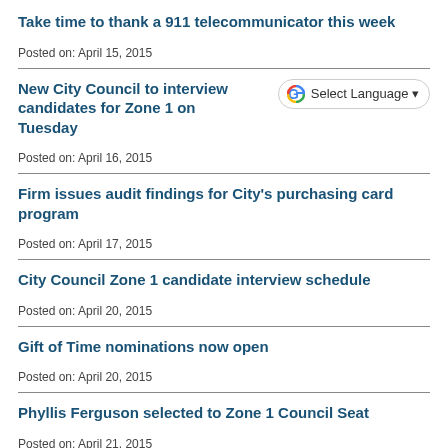Take time to thank a 911 telecommunicator this week
Posted on: April 15, 2015
New City Council to interview candidates for Zone 1 on Tuesday
Posted on: April 16, 2015
Firm issues audit findings for City's purchasing card program
Posted on: April 17, 2015
City Council Zone 1 candidate interview schedule
Posted on: April 20, 2015
Gift of Time nominations now open
Posted on: April 20, 2015
Phyllis Ferguson selected to Zone 1 Council Seat
Posted on: April 21, 2015